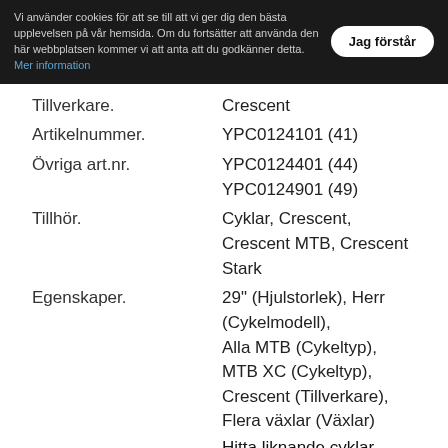Vi använder cookies för att se till att vi ger dig den bästa upplevelsen på vår hemsida. Om du fortsätter att använda den här webbplatsen kommer vi att anta att du godkänner detta. Mer information
Jag förstår
Tillverkare.  Crescent
Artikelnummer.  YPC0124101 (41)
Övriga art.nr.  YPC0124401 (44)
              YPC0124901 (49)
Tillhör.  Cyklar, Crescent, Crescent MTB, Crescent Stark
Egenskaper.  29" (Hjulstorlek), Herr (Cykelmodell), Alla MTB (Cykeltyp), MTB XC (Cykeltyp), Crescent (Tillverkare), Flera växlar (Växlar)
Hitta liknande cyklar.
[Figure (other): Pinterest Save button]
Liknande artiklar.